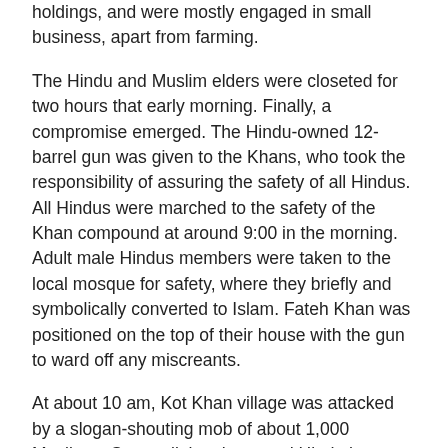holdings, and were mostly engaged in small business, apart from farming.
The Hindu and Muslim elders were closeted for two hours that early morning. Finally, a compromise emerged. The Hindu-owned 12-barrel gun was given to the Khans, who took the responsibility of assuring the safety of all Hindus. All Hindus were marched to the safety of the Khan compound at around 9:00 in the morning.  Adult male Hindus members were taken to the local mosque for safety, where they briefly and symbolically converted to Islam. Fateh Khan was positioned on the top of their house with the gun to ward off any miscreants.
At about 10 am, Kot Khan village was attacked by a slogan-shouting mob of about 1,000 Muslims.  Soon, all the shops and Hindu homes of the village were thoroughly looted. Even doors, windows and water hand pumps were removed, making the entire Hindu neighbourhoods unfit for living.
I could see from the roof top that crowds moving around with lathis (heavy sticks) and shouting for loot. Occasionally, someone from the crowd would Salaam